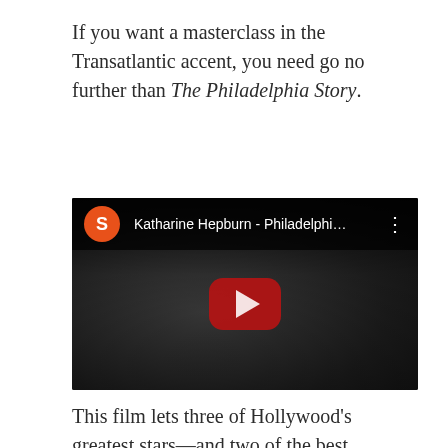If you want a masterclass in the Transatlantic accent, you need go no further than The Philadelphia Story.
[Figure (screenshot): YouTube video thumbnail showing a black and white film still of a person, with the video title bar at the top reading 'Katharine Hepburn - Philadelphi...' with an orange S avatar icon, and a YouTube play button in the center.]
This film lets three of Hollywood's greatest stars—and two of the best examples of the Transatlantic accent—talk and talk and talk for